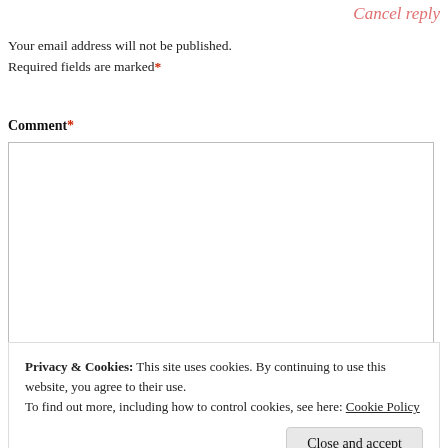Cancel reply
Your email address will not be published. Required fields are marked*
Comment*
[Figure (other): Empty comment text area input box with a resize handle in the bottom-right corner]
Privacy & Cookies: This site uses cookies. By continuing to use this website, you agree to their use. To find out more, including how to control cookies, see here: Cookie Policy
Close and accept